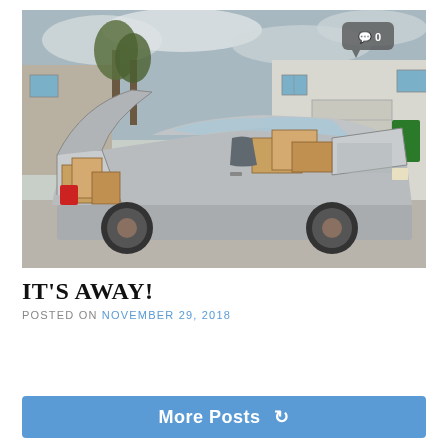[Figure (photo): A silver sedan car with trunk open and rear passenger door open, packed full of cardboard boxes, parked in a driveway next to a garage. A speech bubble icon with '0' is visible in the upper right corner of the photo.]
IT'S AWAY!
POSTED ON NOVEMBER 29, 2018
More Posts